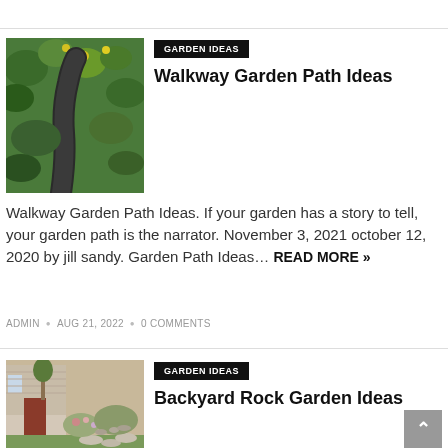[Figure (photo): Garden path with dark gravel winding through green leafy plants and yellow flowers]
GARDEN IDEAS
Walkway Garden Path Ideas
Walkway Garden Path Ideas. If your garden has a story to tell, your garden path is the narrator. November 3, 2021 october 12, 2020 by jill sandy. Garden Path Ideas… READ MORE »
ADMIN • AUG 21, 2022 • 0 COMMENTS
[Figure (photo): Backyard with rock garden, flower beds, stone path and house exterior]
GARDEN IDEAS
Backyard Rock Garden Ideas